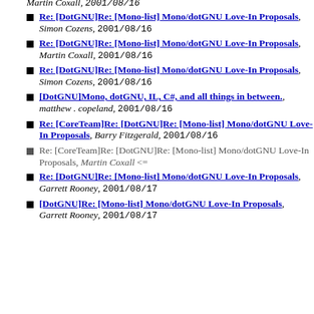Martin Coxall, 2001/08/16
Re: [DotGNU]Re: [Mono-list] Mono/dotGNU Love-In Proposals, Simon Cozens, 2001/08/16
Re: [DotGNU]Re: [Mono-list] Mono/dotGNU Love-In Proposals, Martin Coxall, 2001/08/16
Re: [DotGNU]Re: [Mono-list] Mono/dotGNU Love-In Proposals, Simon Cozens, 2001/08/16
[DotGNU]Mono, dotGNU, IL, C#, and all things in between., matthew . copeland, 2001/08/16
Re: [CoreTeam]Re: [DotGNU]Re: [Mono-list] Mono/dotGNU Love-In Proposals, Barry Fitzgerald, 2001/08/16
Re: [CoreTeam]Re: [DotGNU]Re: [Mono-list] Mono/dotGNU Love-In Proposals, Martin Coxall <=
Re: [DotGNU]Re: [Mono-list] Mono/dotGNU Love-In Proposals, Garrett Rooney, 2001/08/17
[DotGNU]Re: [Mono-list] Mono/dotGNU Love-In Proposals, Garrett Rooney, 2001/08/17